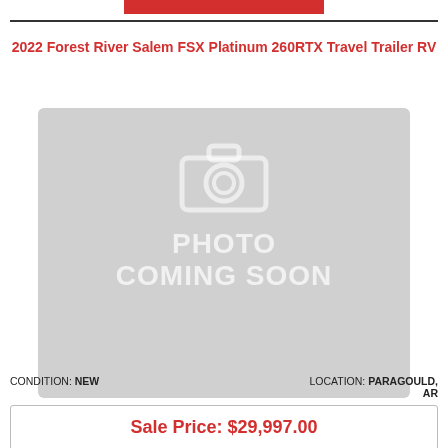2022 Forest River Salem FSX Platinum 260RTX Travel Trailer RV
[Figure (photo): Placeholder image with camera icon and text PHOTO COMING SOON on grey background]
LOCATION: PARAGOULD, AR
CONDITION: NEW
Sale Price: $29,997.00